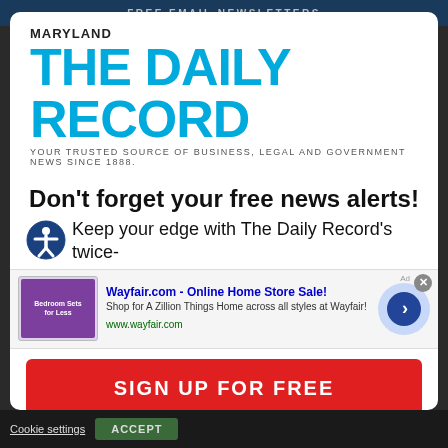FREE EMAIL NEWSLETTERS
[Figure (logo): Maryland The Daily Record logo - blue bold text with tagline: YOUR TRUSTED SOURCE OF BUSINESS, LEGAL AND GOVERNMENT NEWS SINCE 1888.]
Don't forget your free news alerts!
Keep your edge with The Daily Record's twice-
[Figure (screenshot): Wayfair.com advertisement - Online Home Store Sale! Shop for A Zillion Things Home across all styles at Wayfair! www.wayfair.com]
SIGN UP FOR FREE
Cookie settings   ACCEPT